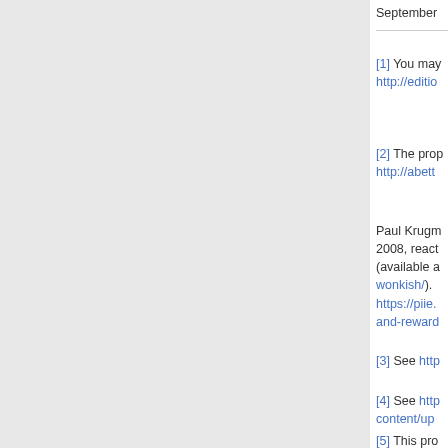September
[1] You may http://editio...
[2] The prop http://abett... Paul Krugman 2008, react (available a wonkish/). https://piie. and-reward
[3] See http
[4] See http content/up
[5] This pro